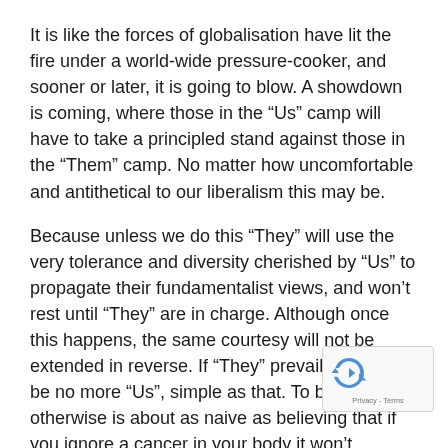It is like the forces of globalisation have lit the fire under a world-wide pressure-cooker, and sooner or later, it is going to blow. A showdown is coming, where those in the “Us” camp will have to take a principled stand against those in the “Them” camp. No matter how uncomfortable and antithetical to our liberalism this may be.
Because unless we do this “They” will use the very tolerance and diversity cherished by “Us” to propagate their fundamentalist views, and won’t rest until “They” are in charge. Although once this happens, the same courtesy will not be extended in reverse. If “They” prevail, there will be no more “Us”, simple as that. To believe otherwise is about as naive as believing that if you ignore a cancer in your body it won’t eventually grow and consume you.
—